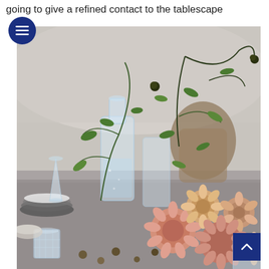going to give a refined contact to the tablescape
[Figure (photo): An elegantly styled dining table with crystal glassware, a glass carafe, and an abundant floral centerpiece featuring peach and blush roses, dahlias, and greenery with trailing branches, set on a linen-covered table with plates and small nuts scattered around.]